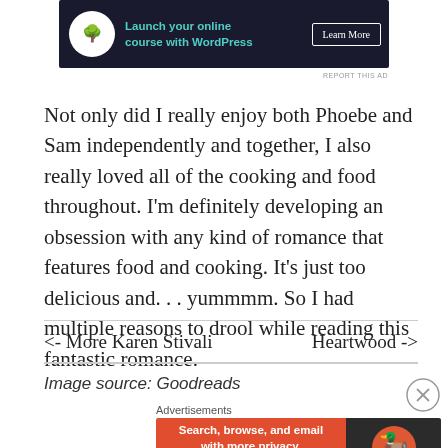[Figure (other): Advertisement banner: dark background with bonsai tree icon, teal text 'Launch your online course with WordPress', white 'Learn More' button]
Not only did I really enjoy both Phoebe and Sam independently and together, I also really loved all of the cooking and food throughout. I'm definitely developing an obsession with any kind of romance that features food and cooking. It's just too delicious and. . . yummmm. So I had multiple reasons to drool while reading this fantastic romance.
<- More Karen Stivali    Heartwood ->
Image source: Goodreads
[Figure (other): Advertisement for DuckDuckGo: orange/red background with text 'Search, browse, and email with more privacy. All in One Free App' and DuckDuckGo logo]